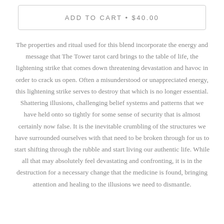ADD TO CART • $40.00
The properties and ritual used for this blend incorporate the energy and message that The Tower tarot card brings to the table of life, the lightening strike that comes down threatening devastation and havoc in order to crack us open. Often a misunderstood or unappreciated energy, this lightening strike serves to destroy that which is no longer essential. Shattering illusions, challenging belief systems and patterns that we have held onto so tightly for some sense of security that is almost certainly now false. It is the inevitable crumbling of the structures we have surrounded ourselves with that need to be broken through for us to start shifting through the rubble and start living our authentic life. While all that may absolutely feel devastating and confronting, it is in the destruction for a necessary change that the medicine is found, bringing attention and healing to the illusions we need to dismantle.